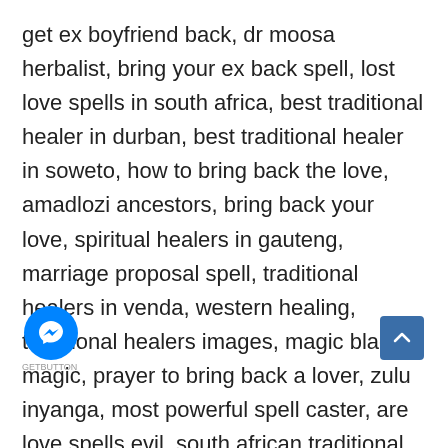get ex boyfriend back, dr moosa herbalist, bring your ex back spell, lost love spells in south africa, best traditional healer in durban, best traditional healer in soweto, how to bring back the love, amadlozi ancestors, bring back your love, spiritual healers in gauteng, marriage proposal spell, traditional healers in venda, western healing, traditional healers images, magic black magic, prayer to bring back a lover, zulu inyanga, most powerful spell caster, are love spells evil, south african traditional medicinal plants, spells on people, dr moosa healer, traditional healers in hospitals, love incantation, witchcraft casting spells, healing witch, south african witchcraft spells, are love spells black magic, healing witchcraft, traditional herbalist in south africa, native american healing traditions, traditional doctors south africa, how to cure witchcraft, spell to get married, iz__ga in kzn, sangoma spirits, healing person, sangoma in g__, what is a sangoma calling, magic of healing, diffe__e between sangoma and inyanga, south african shaman, traditional treatment, traditional muthi, black magiic, signs that